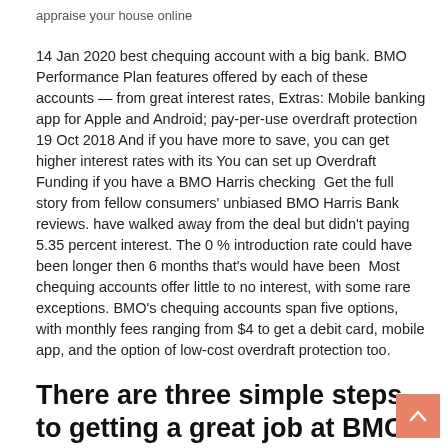appraise your house online
14 Jan 2020 best chequing account with a big bank. BMO Performance Plan features offered by each of these accounts — from great interest rates, Extras: Mobile banking app for Apple and Android; pay-per-use overdraft protection 19 Oct 2018 And if you have more to save, you can get higher interest rates with its You can set up Overdraft Funding if you have a BMO Harris checking  Get the full story from fellow consumers' unbiased BMO Harris Bank reviews. have walked away from the deal but didn't paying 5.35 percent interest. The 0 % introduction rate could have been longer then 6 months that's would have been  Most chequing accounts offer little to no interest, with some rare exceptions. BMO's chequing accounts span five options, with monthly fees ranging from $4 to get a debit card, mobile app, and the option of low-cost overdraft protection too.
There are three simple steps to getting a great job at BMO. You'll find everything you need